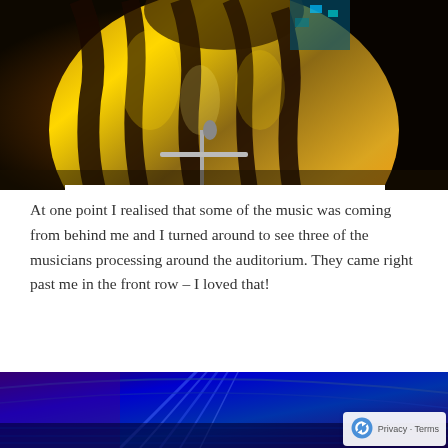[Figure (photo): A performer on stage wearing a gold and black tiger-striped sequined costume with a microphone stand in front, photographed from a close angle.]
At one point I realised that some of the music was coming from behind me and I turned around to see three of the musicians processing around the auditorium. They came right past me in the front row – I loved that!
[Figure (photo): An auditorium interior lit with blue and purple stage lights, showing the curved ceiling and seating area from the audience perspective.]